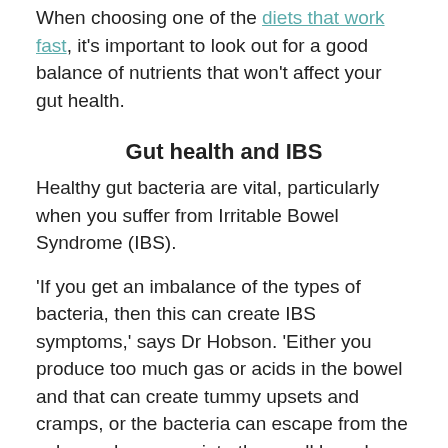When choosing one of the diets that work fast, it's important to look out for a good balance of nutrients that won't affect your gut health.
Gut health and IBS
Healthy gut bacteria are vital, particularly when you suffer from Irritable Bowel Syndrome (IBS).
'If you get an imbalance of the types of bacteria, then this can create IBS symptoms,' says Dr Hobson. 'Either you produce too much gas or acids in the bowel and that can create tummy upsets and cramps, or the bacteria can escape from the colon and move up into the small bowel.
'This is known as small intestinal bacterial overgrowth, which can interfere with digestion.'
Try Silicol gel (£8.29 for 200ml from pharmacists and...